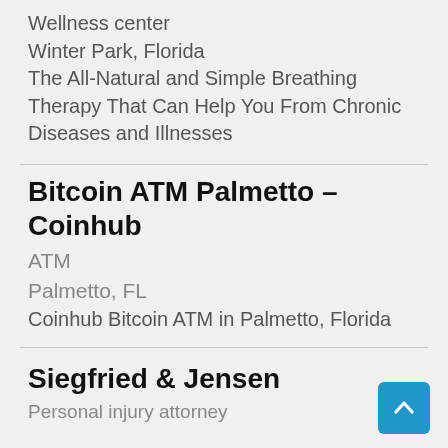Wellness center
Winter Park, Florida
The All-Natural and Simple Breathing Therapy That Can Help You From Chronic Diseases and Illnesses
Bitcoin ATM Palmetto – Coinhub
ATM
Palmetto, FL
Coinhub Bitcoin ATM in Palmetto, Florida
Siegfried & Jensen
Personal injury attorney